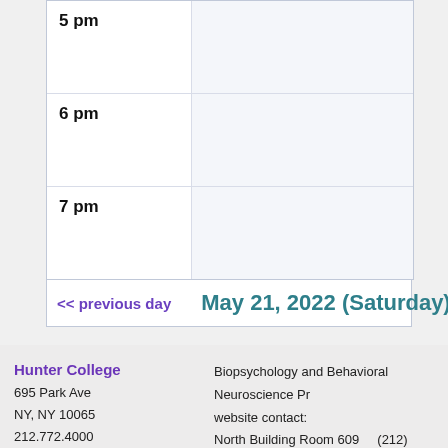| Time | Events |
| --- | --- |
| 5 pm |  |
| 6 pm |  |
| 7 pm |  |
<< previous day    May 21, 2022 (Saturday)
Hunter College
695 Park Ave
NY, NY 10065
212.772.4000
Biopsychology and Behavioral Neuroscience Pr website contact:
North Building Room 609    (212) 772-5621
biopsych@hunter.cuny.edu
CUNY Alert    Jobs    Public Safety    Website Fe
Disclaimer    Privacy Policy    CUNY Tobacco Poli
About Hunter    Academics    Admissions    O
Students    Libraries    Research    Make a Gi